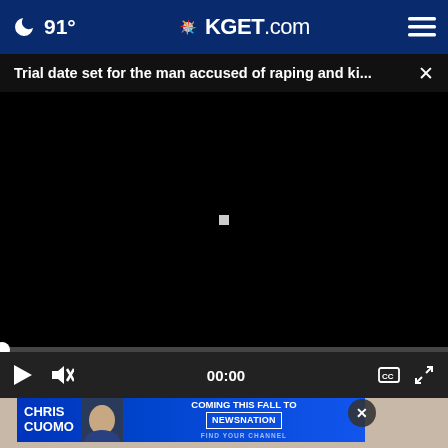🌙 91° nbcKGET.com ≡
Trial date set for the man accused of raping and ki... ×
[Figure (screenshot): Black video player area with a small white square in the center, showing a paused/loading video state]
[Figure (screenshot): Video player controls bar with play button, mute button, time display 00:00, CC button, and fullscreen button on dark background]
[Figure (screenshot): Bottom section showing a person's image in background with a Chris Cuomo / NewsNation advertisement banner overlay and an X close button]